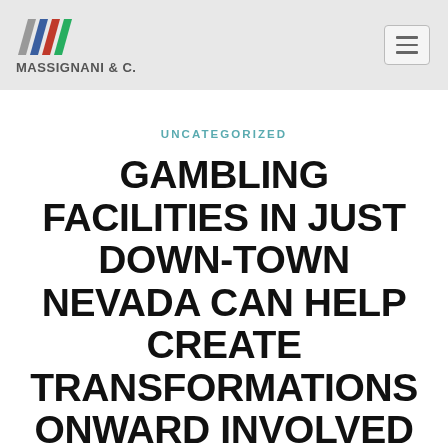[Figure (logo): Massignani & C. company logo with colorful M symbol and company name text]
UNCATEGORIZED
GAMBLING FACILITIES IN JUST DOWN-TOWN NEVADA CAN HELP CREATE TRANSFORMATIONS ONWARD INVOLVED WITH NYE